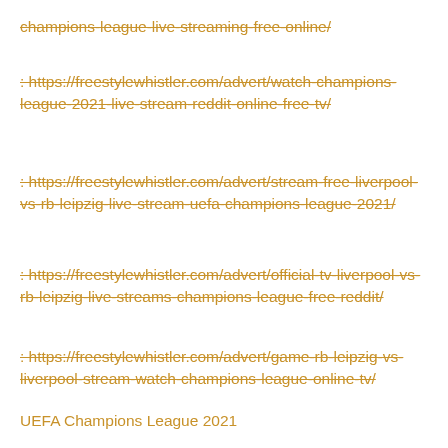champions-league-live-streaming-free-online/
: https://freestylewhistler.com/advert/watch-champions-league-2021-live-stream-reddit-online-free-tv/
: https://freestylewhistler.com/advert/stream-free-liverpool-vs-rb-leipzig-live-stream-uefa-champions-league-2021/
: https://freestylewhistler.com/advert/official-tv-liverpool-vs-rb-leipzig-live-streams-champions-league-free-reddit/
: https://freestylewhistler.com/advert/game-rb-leipzig-vs-liverpool-stream-watch-champions-league-online-tv/
UEFA Champions League 2021
Watch UEFA Champions League 2021